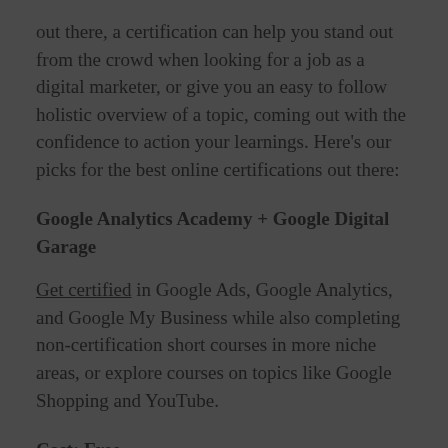out there, a certification can help you stand out from the crowd when looking for a job as a digital marketer, or give you an easy to follow holistic overview of a topic, coming out with the confidence to action your learnings. Here's our picks for the best online certifications out there:
Google Analytics Academy + Google Digital Garage
Get certified in Google Ads, Google Analytics, and Google My Business while also completing non-certification short courses in more niche areas, or explore courses on topics like Google Shopping and YouTube.
Cost: Free